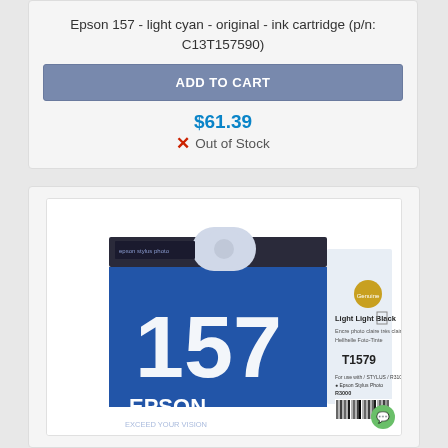Epson 157 - light cyan - original - ink cartridge (p/n: C13T157590)
ADD TO CART
$61.39
✕ Out of Stock
[Figure (photo): Epson 157 ink cartridge box product photo - shows blue and white box with number 157, EPSON EXCEED YOUR VISION branding, Light Light Black label, model T1579, barcode visible]